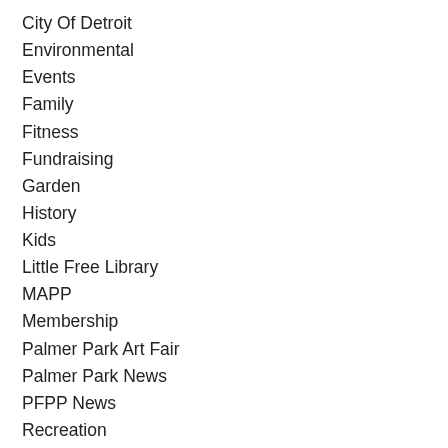City Of Detroit
Environmental
Events
Family
Fitness
Fundraising
Garden
History
Kids
Little Free Library
MAPP
Membership
Palmer Park Art Fair
Palmer Park News
PFPP News
Recreation
Safety
Seniors
Storytime
T'ai Chi